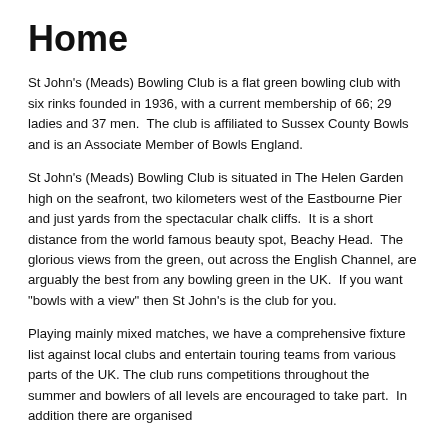Home
St John's (Meads) Bowling Club is a flat green bowling club with six rinks founded in 1936, with a current membership of 66; 29 ladies and 37 men.  The club is affiliated to Sussex County Bowls and is an Associate Member of Bowls England.
St John's (Meads) Bowling Club is situated in The Helen Garden high on the seafront, two kilometers west of the Eastbourne Pier and just yards from the spectacular chalk cliffs.  It is a short distance from the world famous beauty spot, Beachy Head.  The glorious views from the green, out across the English Channel, are arguably the best from any bowling green in the UK.  If you want "bowls with a view" then St John's is the club for you.
Playing mainly mixed matches, we have a comprehensive fixture list against local clubs and entertain touring teams from various parts of the UK. The club runs competitions throughout the summer and bowlers of all levels are encouraged to take part.  In addition there are organised